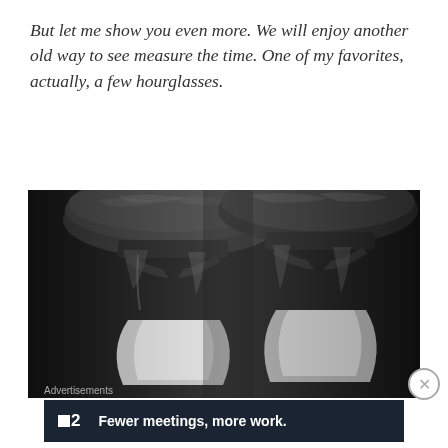But let me show you even more. We will enjoy another old way to see measure the time. One of my favorites, actually, a few hourglasses.
[Figure (photo): Black and white close-up photograph of two hourglasses side by side, showing the top bulb sections and the narrow middle neck area with sand]
Advertisements
[Figure (other): Advertisement banner with dark navy background showing a logo '■2' on the left and text 'Fewer meetings, more work.' in bold white font]